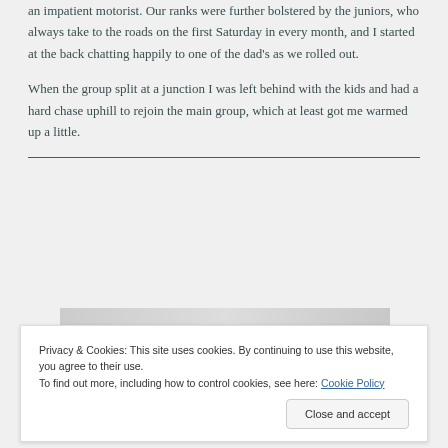an impatient motorist. Our ranks were further bolstered by the juniors, who always take to the roads on the first Saturday in every month, and I started at the back chatting happily to one of the dad's as we rolled out.
When the group split at a junction I was left behind with the kids and had a hard chase uphill to rejoin the main group, which at least got me warmed up a little.
[Figure (photo): Partial view of a newspaper or magazine image strip visible behind cookie banner]
Privacy & Cookies: This site uses cookies. By continuing to use this website, you agree to their use.
To find out more, including how to control cookies, see here: Cookie Policy